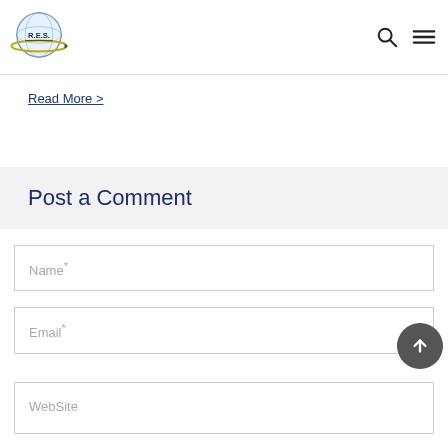R.E.S. logo with search and menu icons
Read More >
Post a Comment
Name*
Email*
WebSite